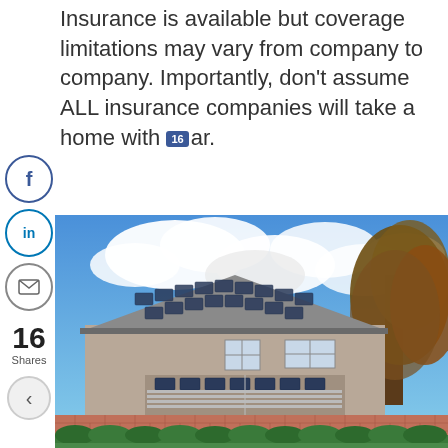Insurance is available but coverage limitations may vary from company to company. Importantly, don't assume ALL insurance companies will take a home with [16] ar.
[Figure (photo): Photograph of a two-story house with solar panels installed on the roof, blue sky with clouds in the background, a large tree on the right side, and a brick fence with hedges in the foreground.]